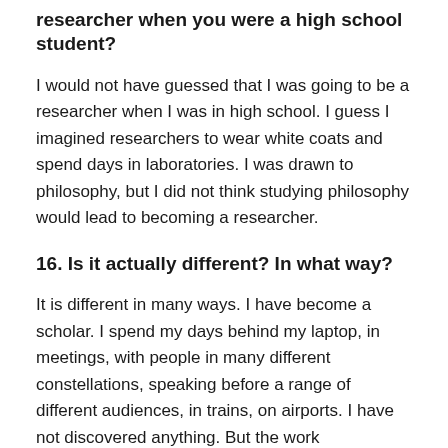researcher when you were a high school student?
I would not have guessed that I was going to be a researcher when I was in high school. I guess I imagined researchers to wear white coats and spend days in laboratories. I was drawn to philosophy, but I did not think studying philosophy would lead to becoming a researcher.
16. Is it actually different? In what way?
It is different in many ways. I have become a scholar. I spend my days behind my laptop, in meetings, with people in many different constellations, speaking before a range of different audiences, in trains, on airports. I have not discovered anything. But the work